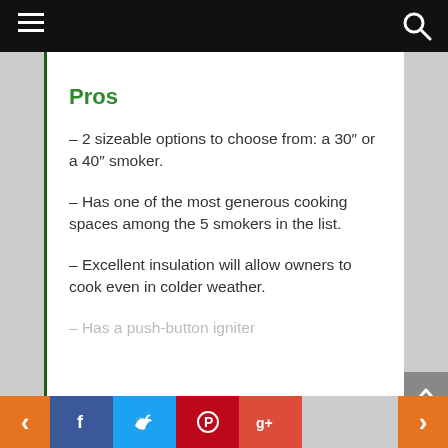Navigation bar with hamburger menu and search icon
Pros
– 2 sizeable options to choose from: a 30″ or a 40″ smoker.
– Has one of the most generous cooking spaces among the 5 smokers in the list.
– Excellent insulation will allow owners to cook even in colder weather.
– Has a push-button igniter
Social share buttons: Facebook, Twitter, Pinterest, Google+; navigation arrows